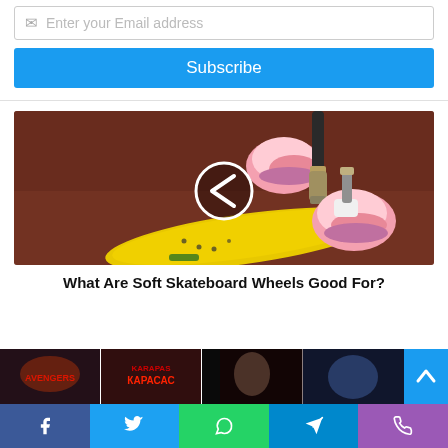Enter your Email address
Subscribe
[Figure (photo): Person with prosthetic leg standing near a yellow skateboard on a red/brown rubber surface, with a circular back-arrow play button overlay]
What Are Soft Skateboard Wheels Good For?
[Figure (photo): Strip of movie cover images at the bottom of the page]
[Figure (infographic): Scroll-to-top button (blue, with up arrow)]
Facebook | Twitter | WhatsApp | Telegram | Phone